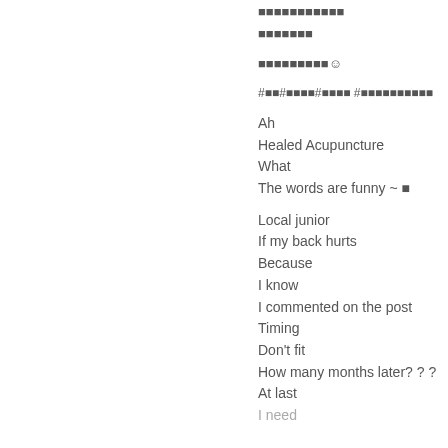🟥🟥🟥🟥🟥🟥🟥🟥🟥🟥🟥
🟥🟥🟥🟥🟥🟥🟥
🟥🟥🟥🟥🟥🟥🟥🟥🟥😊
#🟥🟥#🟥🟥🟥🟥#🟥🟥🟥🟥 #🟥🟥🟥🟥🟥🟥🟥🟥🟥🟥
Ah
Healed Acupuncture
What
The words are funny ~ 🟥
Local junior
If my back hurts
Because
I know
I commented on the post
Timing
Don't fit
How many months later? ? ?
At last
I need